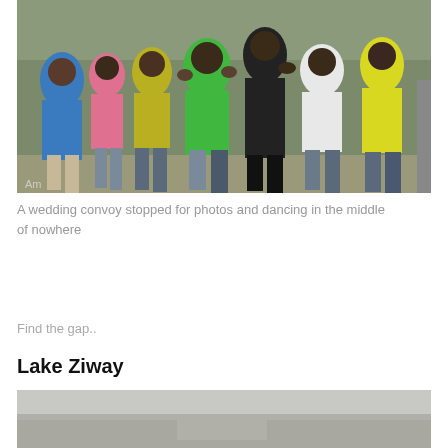[Figure (photo): Group of people at a wedding convoy, dancing and celebrating outdoors in colorful clothes including green, blue, yellow shirts and dark pants.]
A wedding convoy stopped for photos and dancing in the middle of nowhere
Find the gap..
Lake Ziway
[Figure (photo): Partial view of Lake Ziway, showing a hazy landscape with water and flat terrain.]